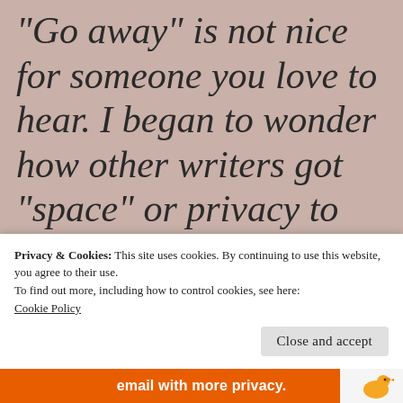“Go away” is not nice for someone you love to hear. I began to wonder how other writers got “space” or privacy to write. How do you have room? What do you do to get room to pull faces, pace the floor,
Privacy & Cookies: This site uses cookies. By continuing to use this website, you agree to their use.
To find out more, including how to control cookies, see here: Cookie Policy
Close and accept
email with more privacy.